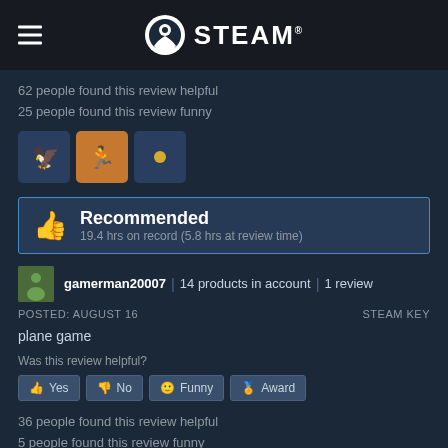STEAM
62 people found this review helpful
25 people found this review funny
[Figure (illustration): Three Steam award/badge icons in dark blue rounded square containers]
Recommended
19.4 hrs on record (5.8 hrs at review time)
gamerman20007 | 14 products in account | 1 review
POSTED: AUGUST 16    STEAM KEY
plane game
Was this review helpful?
Yes  No  Funny  Award
36 people found this review helpful
5 people found this review funny